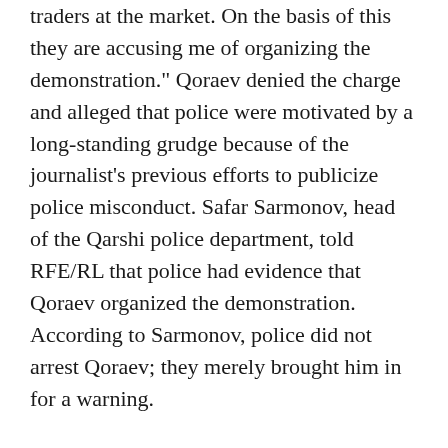traders at the market. On the basis of this they are accusing me of organizing the demonstration." Qoraev denied the charge and alleged that police were motivated by a long-standing grudge because of the journalist's previous efforts to publicize police misconduct. Safar Sarmonov, head of the Qarshi police department, told RFE/RL that police had evidence that Qoraev organized the demonstration. According to Sarmonov, police did not arrest Qoraev; they merely brought him in for a warning.
While the decision to delay the implementation of new regulations has had a palliative effect, the eventual outlook remains unclear. Tense calm prevails in Ferghana, the BBC reported on 8 November. But BBC correspondent Monica Whitlock indicated that merchants who depend on goods imported from China and Kazakhstan to eke out a